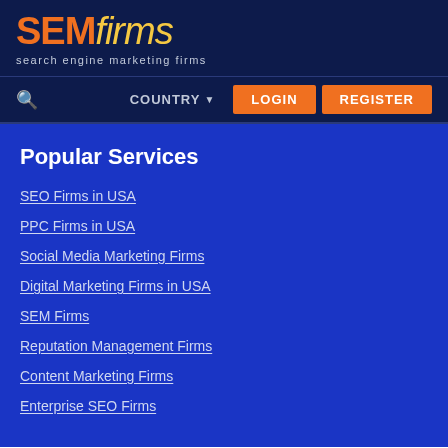[Figure (logo): SEMfirms logo with orange SEM and italic yellow 'firms' text, tagline 'search engine marketing firms']
COUNTRY LOGIN REGISTER
Popular Services
SEO Firms in USA
PPC Firms in USA
Social Media Marketing Firms
Digital Marketing Firms in USA
SEM Firms
Reputation Management Firms
Content Marketing Firms
Enterprise SEO Firms